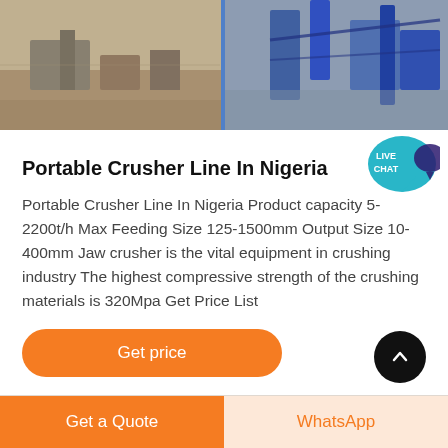[Figure (photo): Aerial or overhead photo of a portable crusher line / industrial machinery at a quarry or construction site, showing equipment with blue structural elements on sandy/earthy ground. A vertical dividing line separates two views.]
[Figure (infographic): Live Chat bubble icon in teal/cyan color with white text 'LIVE CHAT' and a speech bubble tail, positioned top-right.]
Portable Crusher Line In Nigeria
Portable Crusher Line In Nigeria Product capacity 5-2200t/h Max Feeding Size 125-1500mm Output Size 10-400mm Jaw crusher is the vital equipment in crushing industry The highest compressive strength of the crushing materials is 320Mpa Get Price List
Get price
Get a Quote
WhatsApp